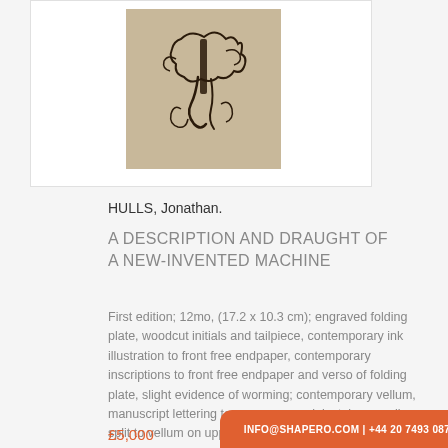[Figure (illustration): A small old sketched illustration on aged paper showing handwritten/drawn ink figures in a loose calligraphic style, mounted on a white card background.]
HULLS, Jonathan.
A DESCRIPTION AND DRAUGHT OF A NEW-INVENTED MACHINE
First edition; 12mo, (17.2 x 10.3 cm); engraved folding plate, woodcut initials and tailpiece, contemporary ink illustration to front free endpaper, contemporary inscriptions to front free endpaper and verso of folding plate, slight evidence of worming; contemporary vellum, manuscript lettering to covers, some ink stains, small split to vellum on upper cover, some edges trimmed, overall a very good copy; [7], 48pp.
£5,000
INFO@SHAPERO.COM | +44 20 7493 0876